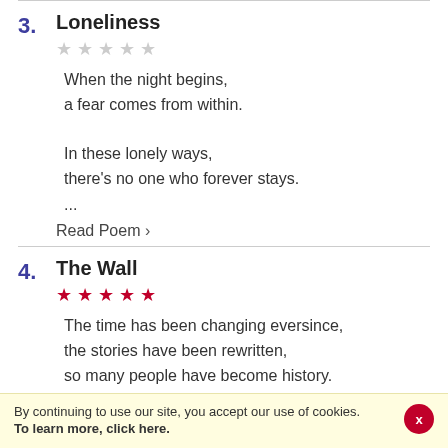3. Loneliness — ★★★★★ (empty stars) — When the night begins, a fear comes from within. In these lonely ways, there's no one who forever stays. ... Read Poem >
4. The Wall — ★★★★★ (filled stars) — The time has been changing eversince, the stories have been rewritten, so many people have become history.
By continuing to use our site, you accept our use of cookies. To learn more, click here.